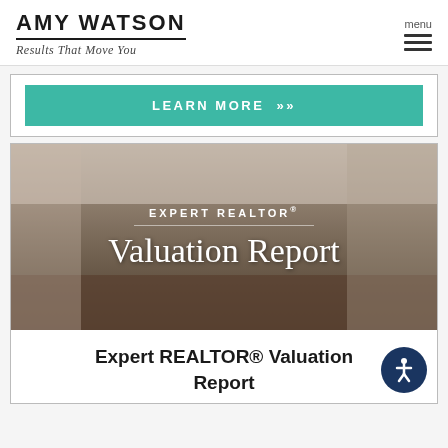AMY WATSON — Results That Move You
menu
LEARN MORE »
[Figure (photo): Interior room photo used as background for Valuation Report card overlay with text 'EXPERT REALTOR® Valuation Report']
Expert REALTOR® Valuation Report